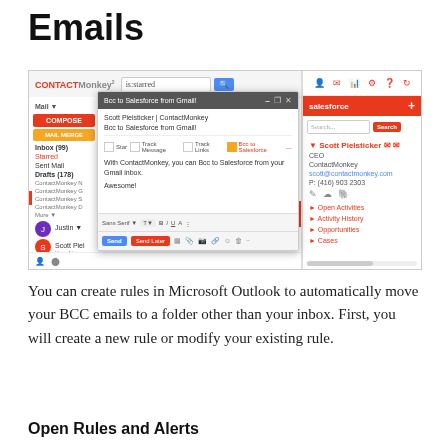Emails
[Figure (screenshot): Screenshot of ContactMonkey Gmail integration showing BCC to Salesforce from Gmail popup dialog, alongside a Salesforce contact sidebar with Scott Pielsticker's details]
You can create rules in Microsoft Outlook to automatically move your BCC emails to a folder other than your inbox. First, you will create a new rule or modify your existing rule.
Open Rules and Alerts